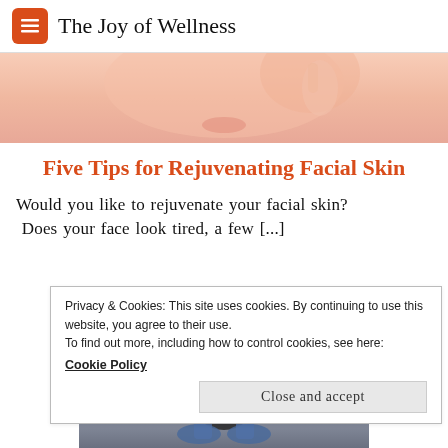The Joy of Wellness
[Figure (photo): Cropped photo of a woman's face touching her cheek, skin close-up with pink/peach tones]
Five Tips for Rejuvenating Facial Skin
Would you like to rejuvenate your facial skin? Does your face look tired, a few [...]
Privacy & Cookies: This site uses cookies. By continuing to use this website, you agree to their use.
To find out more, including how to control cookies, see here: Cookie Policy
Close and accept
[Figure (photo): Photo of a person sitting cross-legged, wearing jeans and a dark top, outdoors]